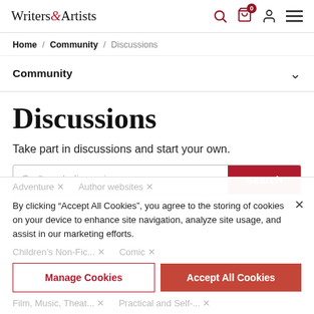Writers & Artists
Home / Community / Discussions
Community
Discussions
Take part in discussions and start your own.
Search discussions
By clicking "Accept All Cookies", you agree to the storing of cookies on your device to enhance site navigation, analyze site usage, and assist in our marketing efforts.
Adventure ×
Author websites ×
Children's Non-Fic... ×
Comic ×
Manage Cookies
Accept All Cookies
Film, Music, Theat... ×
Practical and Self-... ×